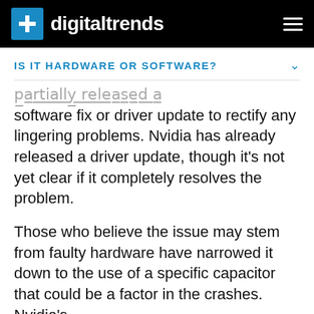digitaltrends
IS IT HARDWARE OR SOFTWARE?
...partially released a software fix or driver update to rectify any lingering problems. Nvidia has already released a driver update, though it's not yet clear if it completely resolves the problem.
Those who believe the issue may stem from faulty hardware have narrowed it down to the use of a specific capacitor that could be a factor in the crashes. Nvidia's